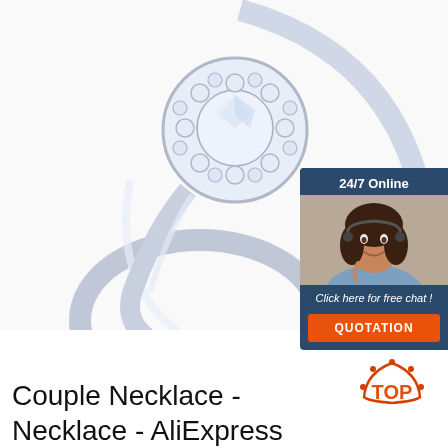[Figure (photo): Close-up photo of a diamond halo engagement ring with a large round center stone surrounded by smaller diamonds, set on a curved silver band with pavé diamonds along the shank. White background.]
[Figure (infographic): Customer service chat widget. Dark navy blue box showing '24/7 Online' heading, a photo of a smiling female customer service representative with a headset, text 'Click here for free chat!' and an orange button labeled 'QUOTATION'.]
[Figure (logo): TOP logo: orange triangle/arch shape with dots above it and the word TOP in bold orange letters.]
Couple Necklace - Necklace - AliExpress